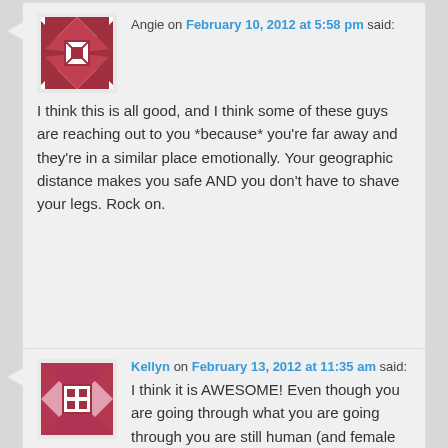[Figure (illustration): Avatar image - decorative quilt pattern in red and white]
Angie on February 10, 2012 at 5:58 pm said:
I think this is all good, and I think some of these guys are reaching out to you *because* you're far away and they're in a similar place emotionally. Your geographic distance makes you safe AND you don't have to shave your legs. Rock on.
[Figure (illustration): Avatar image - decorative quilt pattern in red and white]
Kellyn on February 13, 2012 at 11:35 am said:
I think it is AWESOME! Even though you are going through what you are going through you are still human (and female to boot!).